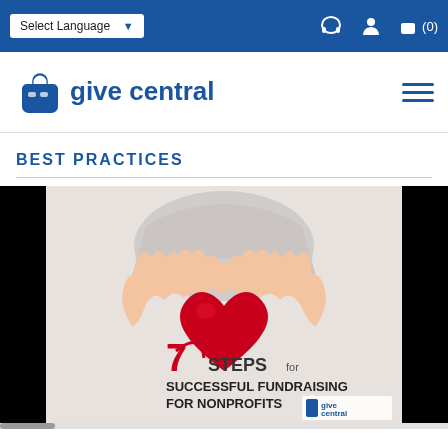Select Language  (0)
[Figure (logo): GiveCentral logo with shopping bag icon and blue text reading 'give central']
BEST PRACTICES
[Figure (photo): Hands holding a red heart shape. Overlay text reads '7 STEPS for SUCCESSFUL FUNDRAISING FOR NONPROFITS' with GiveCentral logo in bottom right corner.]